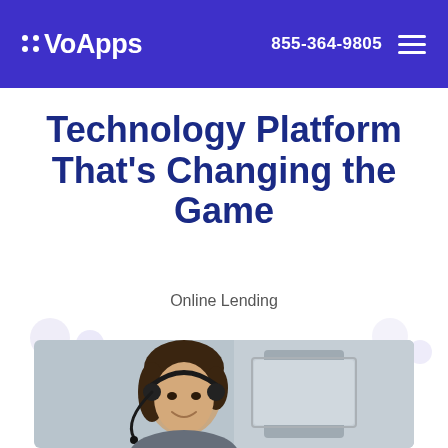VoApps · 855-364-9805
Technology Platform That's Changing the Game
Online Lending
[Figure (photo): Woman wearing a headset smiling while looking at a computer screen, in a customer service or call center setting.]